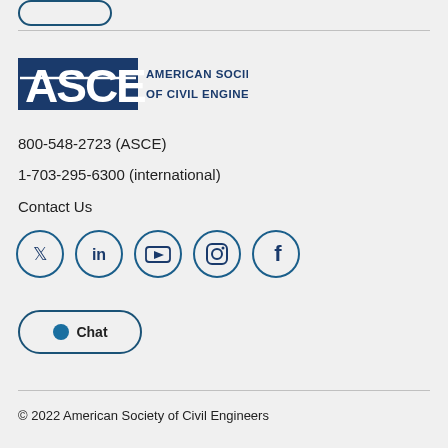[Figure (logo): ASCE - American Society of Civil Engineers logo in blue]
800-548-2723 (ASCE)
1-703-295-6300 (international)
Contact Us
[Figure (infographic): Social media icons in circles: Twitter, LinkedIn, YouTube, Instagram, Facebook]
[Figure (infographic): Chat button with speech bubble icon]
© 2022 American Society of Civil Engineers